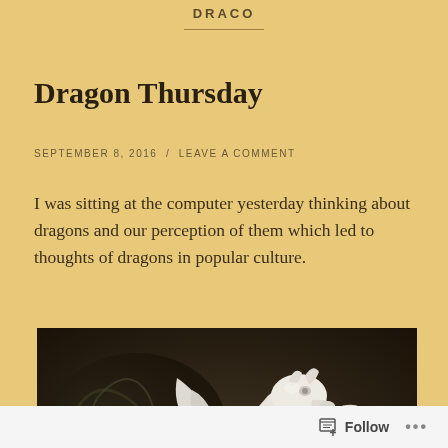DRACO
Dragon Thursday
SEPTEMBER 8, 2016  /  LEAVE A COMMENT
I was sitting at the computer yesterday thinking about dragons and our perception of them which led to thoughts of dragons in popular culture.
[Figure (photo): A white ceramic or plaster dragon figurine with wings spread, photographed against a dark background with a decorative dragon artwork visible behind it.]
Follow  ...